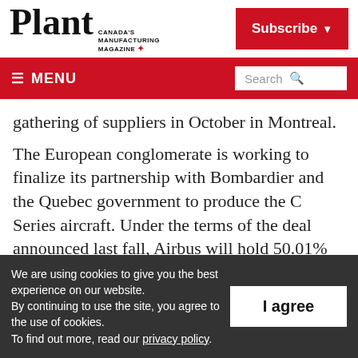Plant Canada's Manufacturing Magazine | Subscribe
≡ MENU | Search
gathering of suppliers in October in Montreal.
The European conglomerate is working to finalize its partnership with Bombardier and the Quebec government to produce the C Series aircraft. Under the terms of the deal announced last fall, Airbus will hold 50.01% of
We are using cookies to give you the best experience on our website.
By continuing to use the site, you agree to the use of cookies.
To find out more, read our privacy policy.